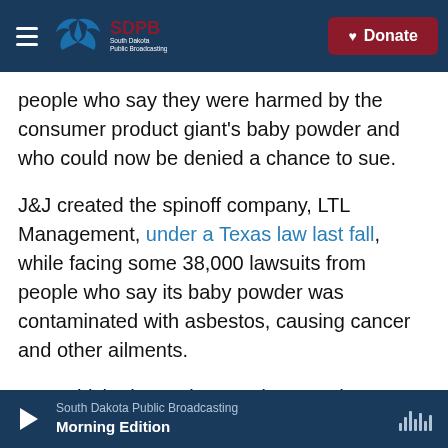SDPB South Dakota Public Broadcasting | Donate
people who say they were harmed by the consumer product giant's baby powder and who could now be denied a chance to sue.
J&J created the spinoff company, LTL Management, under a Texas law last fall, while facing some 38,000 lawsuits from people who say its baby powder was contaminated with asbestos, causing cancer and other ailments.
J&J, which also makes products such as Tylenol and Band-Aid, assigned legal liability for the complaints to the spinoff company, which
South Dakota Public Broadcasting
Morning Edition